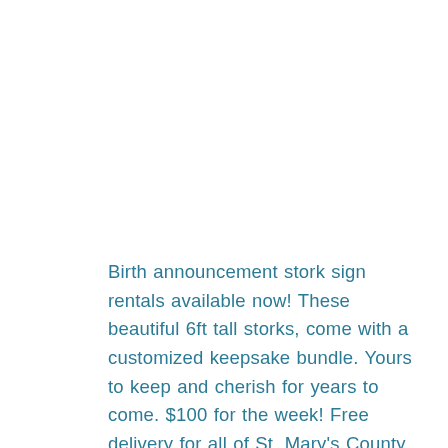Birth announcement stork sign rentals available now! These beautiful 6ft tall storks, come with a customized keepsake bundle. Yours to keep and cherish for years to come. $100 for the week! Free delivery for all of St. Mary's County and lower Calvert County.